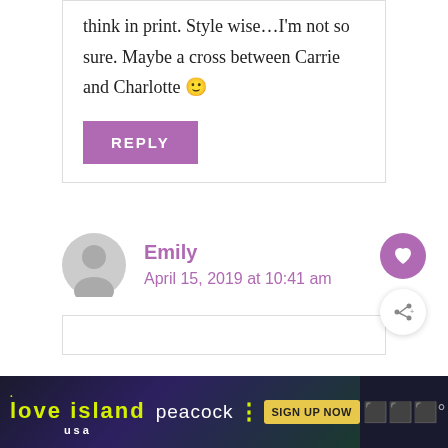think in print. Style wise…I'm not so sure. Maybe a cross between Carrie and Charlotte 🙂
REPLY
Emily
April 15, 2019 at 10:41 am
[Figure (screenshot): Love Island USA advertisement banner with Peacock streaming service sign up button]